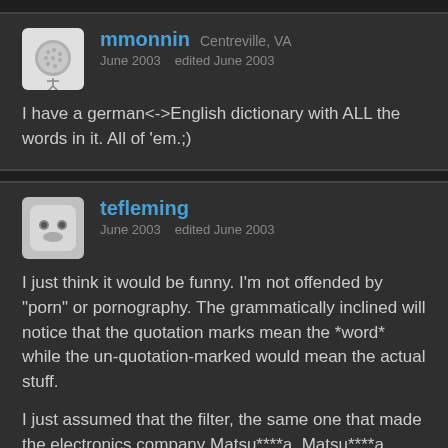mmonnin  Centreville, VA
June 2003  edited June 2003
I have a german<->English dictionary with ALL the words in it. All of 'em.;)
tefleming
June 2003  edited June 2003
I just think it would be funny. I'm not offended by "porn" or pornography. The grammatically inclined will notice that the quotation marks mean the *word* while the un-quotation-marked would mean the actual stuff.
I just assumed that the filter, the same one that made the electronics company Matsu****a, Matsu****a, would be returning
//EDIT: ^ Indeed it is back, Matsush ita